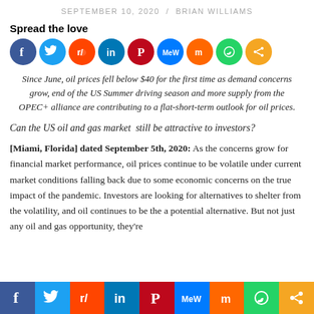SEPTEMBER 10, 2020 / BRIAN WILLIAMS
Spread the love
[Figure (infographic): Social media share icons: Facebook, Twitter, Reddit, LinkedIn, Pinterest, MeWe, Mix, WhatsApp, Share]
Since June, oil prices fell below $40 for the first time as demand concerns grow, end of the US Summer driving season and more supply from the OPEC+ alliance are contributing to a flat-short-term outlook for oil prices.
Can the US oil and gas market  still be attractive to investors?
[Miami, Florida] dated September 5th, 2020: As the concerns grow for financial market performance, oil prices continue to be volatile under current market conditions falling back due to some economic concerns on the true impact of the pandemic. Investors are looking for alternatives to shelter from the volatility, and oil continues to be the a potential alternative. But not just any oil and gas opportunity, they're
[Figure (infographic): Footer social media share bar: Facebook, Twitter, Reddit, LinkedIn, Pinterest, MeWe, Mix, WhatsApp, Share]